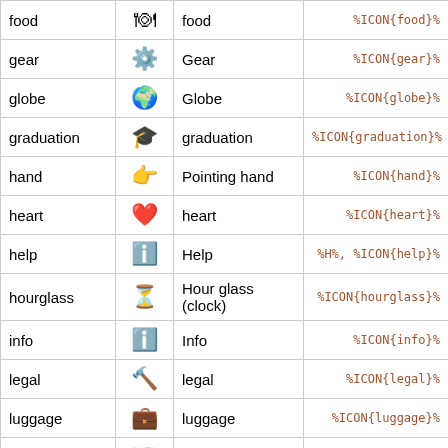| Name | Icon | Description | Syntax |
| --- | --- | --- | --- |
| food | 🍽 | food | %ICON{food}% |
| gear | ⚙ | Gear | %ICON{gear}% |
| globe | 🌍 | Globe | %ICON{globe}% |
| graduation | 🎓 | graduation | %ICON{graduation}% |
| hand | 👉 | Pointing hand | %ICON{hand}% |
| heart | ❤️ | heart | %ICON{heart}% |
| help | ℹ | Help | %H%, %ICON{help}% |
| hourglass | ⏳ | Hour glass (clock) | %ICON{hourglass}% |
| info | ℹ | Info | %ICON{info}% |
| legal | ⚖ | legal | %ICON{legal}% |
| luggage | 🧳 | luggage | %ICON{luggage}% |
| map | 🗺 | Map | %ICON{map}% |
| mechanics | 🔧 | mechanics | %ICON{mechanics}% |